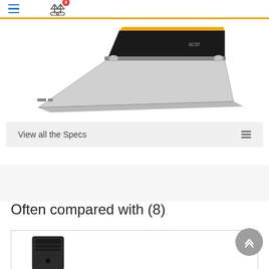Navigation header with hamburger menu and compare icon (badge: 0)
[Figure (photo): Acer laptop/tablet hybrid in tent mode, silver/white, viewed from rear, on white background]
View all the Specs
Often compared with (8)
[Figure (photo): Bottom portion of a product card showing a dark desktop/tower computer, partially visible]